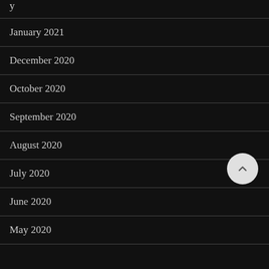January 2021
December 2020
October 2020
September 2020
August 2020
July 2020
June 2020
May 2020